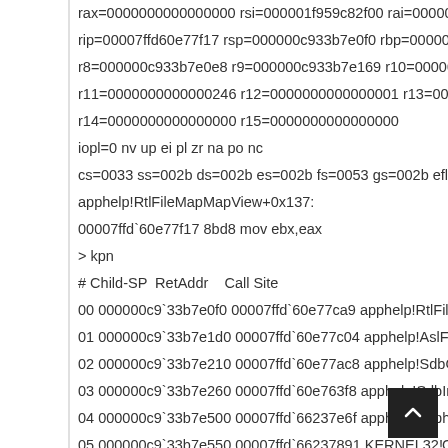rax=0000000000000000 rsi=000001f959c82f00 rdi=000001f95...
rip=00007ffd60e77f17 rsp=000000c933b7e0f0 rbp=000000c933...
r8=000000c933b7e0e8 r9=000000c933b7e169 r10=0000000000...
r11=0000000000000246 r12=0000000000000001 r13=0000000...
r14=0000000000000000 r15=0000000000000000
iopl=0 nv up ei pl zr na po nc
cs=0033 ss=002b ds=002b es=002b fs=0053 gs=002b efl=0000024...
apphelp!RtlFileMapMapView+0x137:
00007ffd`60e77f17 8bd8 mov ebx,eax
> kpn
# Child-SP RetAddr Call Site
00 000000c9`33b7e0f0 00007ffd`60e77ca9 apphelp!RtlFileMapM...
01 000000c9`33b7e1d0 00007ffd`60e77c04 apphelp!AslFileMapp...
02 000000c9`33b7e210 00007ffd`60e77ac8 apphelp!SdbOpenDa...
03 000000c9`33b7e260 00007ffd`60e763f8 apphelp!SdbInitDatab...
04 000000c9`33b7e500 00007ffd`66237e6f apphelp!ApphelpCre...
05 000000c9`33b7e550 00007ffd`66237891 KERNEL32...Gen...
06 000000c9`33b7e5a0 00007ffd`638018a3 KERNEL32!BasepGet...